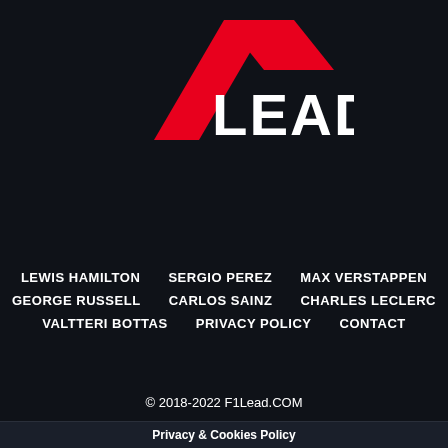[Figure (logo): F1Lead logo: red stylized F1 chevron shape above white bold text 'LEAD' on dark background]
LEWIS HAMILTON
SERGIO PEREZ
MAX VERSTAPPEN
GEORGE RUSSELL
CARLOS SAINZ
CHARLES LECLERC
VALTTERI BOTTAS
PRIVACY POLICY
CONTACT
© 2018-2022 F1Lead.COM
Privacy & Cookies Policy